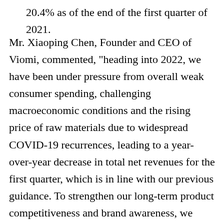20.4% as of the end of the first quarter of 2021.
Mr. Xiaoping Chen, Founder and CEO of Viomi, commented, "heading into 2022, we have been under pressure from overall weak consumer spending, challenging macroeconomic conditions and the rising price of raw materials due to widespread COVID-19 recurrences, leading to a year-over-year decrease in total net revenues for the first quarter, which is in line with our previous guidance. To strengthen our long-term product competitiveness and brand awareness, we continued to invest in R&D and increase marketing and advertising spending. As a result, our R&D-related personnel and experts at the beginning of this year grew by nearly 47% compared to the beginning of 2021, primarily due to the expansion of our AI and